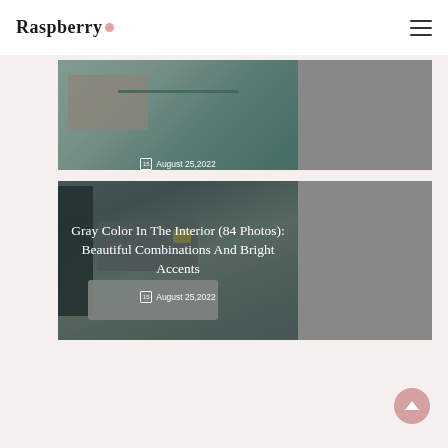Raspberry
[Figure (photo): Interior room photo, partially visible, with date overlay August 25,2022]
[Figure (photo): Gray interior living room photo with title overlay: Gray Color In The Interior (84 Photos): Beautiful Combinations And Bright Accents, dated August 25,2022]